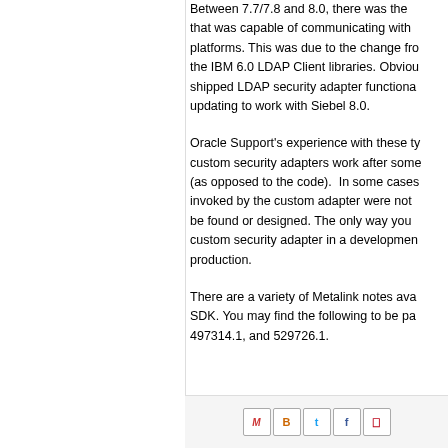Between 7.7/7.8 and 8.0, there was the that was capable of communicating with platforms. This was due to the change from the IBM 6.0 LDAP Client libraries. Obviously shipped LDAP security adapter functional updating to work with Siebel 8.0.
Oracle Support's experience with these types of custom security adapters work after some (as opposed to the code). In some cases invoked by the custom adapter were not be found or designed. The only way you can custom security adapter in a development production.
There are a variety of Metalink notes available SDK. You may find the following to be particularly: 497314.1, and 529726.1.
[Figure (infographic): Social sharing icons: Gmail, Blogger, Twitter, Facebook, Pinterest]